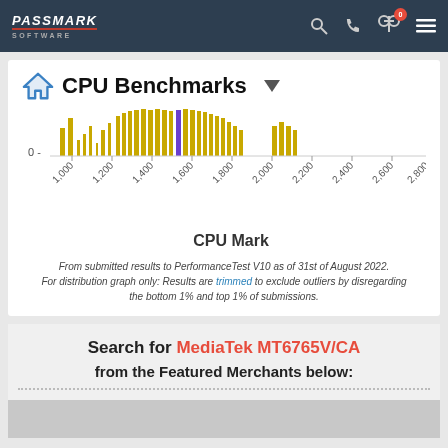PassMark Software
CPU Benchmarks
[Figure (continuous-plot): CPU Mark distribution chart showing frequency of benchmark scores from 0 to 2,800+, with yellow bars of varying heights indicating score density across the range. A purple/blue bar is visible near 1,800.]
From submitted results to PerformanceTest V10 as of 31st of August 2022. For distribution graph only: Results are trimmed to exclude outliers by disregarding the bottom 1% and top 1% of submissions.
Search for MediaTek MT6765V/CA from the Featured Merchants below: